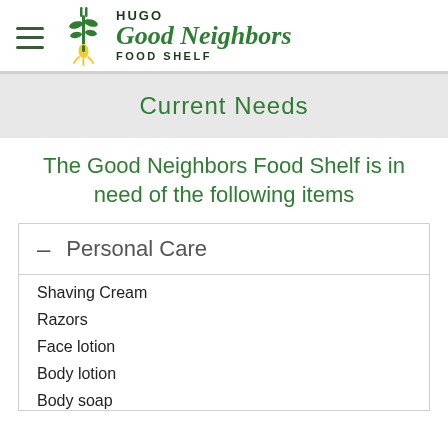HUGO Good Neighbors FOOD SHELF
Current Needs
The Good Neighbors Food Shelf is in need of the following items
– Personal Care
Shaving Cream
Razors
Face lotion
Body lotion
Body soap